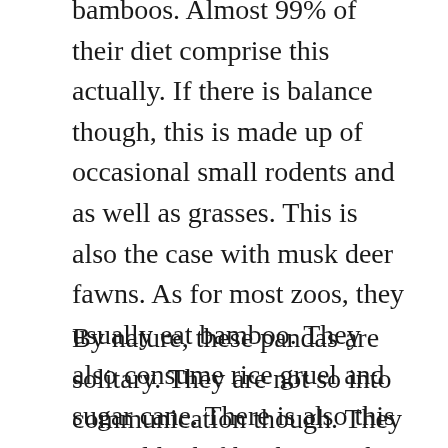bamboos. Almost 99% of their diet comprise this actually. If there is balance though, this is made up of occasional small rodents and as well as grasses. This is also the case with musk deer fawns. As for most zoos, they usually eat bamboo. They also consume rice gruel and sugar cane. There is also this special high-fiber biscuit that they are very much fond of. The same fondness is also expressed in sweet potatoes, carrots and apples.
By nature, these pandas are solitary. They are not so into communication though. They do not do this periodically. These can connect through meetings, calls and even scent marks. Most of the time, off springs would stay delightfully with their mother. They would stay